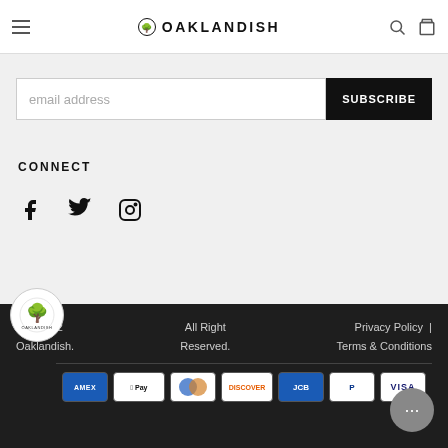OAKLANDISH
email address
SUBSCRIBE
CONNECT
[Figure (illustration): Social media icons: Facebook, Twitter, Instagram]
© 2022 Oaklandish.  All Right Reserved.  Privacy Policy | Terms & Conditions
[Figure (illustration): Payment method logos: AMEX, Apple Pay, Diners Club, Discover, JCB, PayPal, Visa]